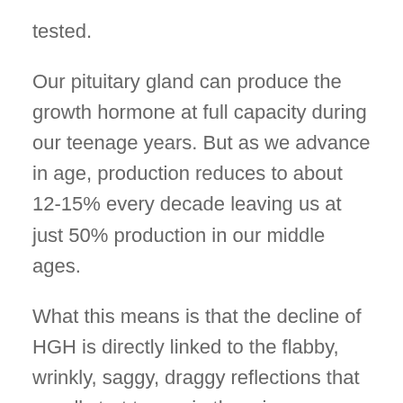tested.
Our pituitary gland can produce the growth hormone at full capacity during our teenage years. But as we advance in age, production reduces to about 12-15% every decade leaving us at just 50% production in our middle ages.
What this means is that the decline of HGH is directly linked to the flabby, wrinkly, saggy, draggy reflections that we all start to see in the mirror as we age.